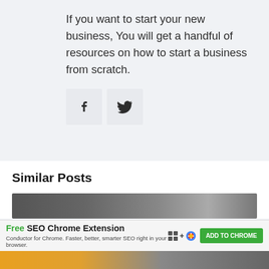If you want to start your new business, You will get a handful of resources on how to start a business from scratch.
[Figure (other): Facebook and Twitter social share buttons side by side on a light grey background]
Similar Posts
[Figure (photo): Dark photograph strip at the bottom of the similar posts section]
[Figure (other): Advertisement bar: Free SEO Chrome Extension. Conductor for Chrome. Faster, better, smarter SEO right in your browser. ADD TO CHROME button.]